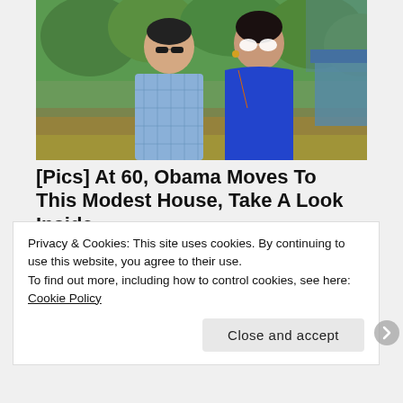[Figure (photo): Photo of two people (man and woman) standing outdoors with greenery in the background. The man wears a light blue plaid shirt and sunglasses; the woman wears a blue top and white heart-shaped sunglasses.]
[Pics] At 60, Obama Moves To This Modest House, Take A Look Inside
BuzzAura
[Figure (photo): Partially visible second image with faint text overlay reading 'hen the hole in tree is fille' — appears to be a teaser/thumbnail image.]
Privacy & Cookies: This site uses cookies. By continuing to use this website, you agree to their use.
To find out more, including how to control cookies, see here: Cookie Policy